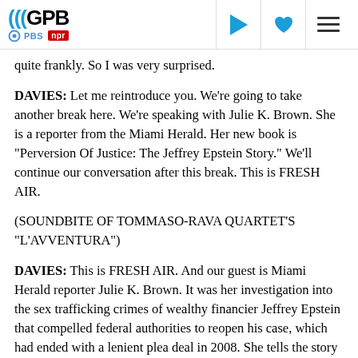GPB | PBS | NPR
quite frankly. So I was very surprised.
DAVIES: Let me reintroduce you. We're going to take another break here. We're speaking with Julie K. Brown. She is a reporter from the Miami Herald. Her new book is "Perversion Of Justice: The Jeffrey Epstein Story." We'll continue our conversation after this break. This is FRESH AIR.
(SOUNDBITE OF TOMMASO-RAVA QUARTET'S "L'AVVENTURA")
DAVIES: This is FRESH AIR. And our guest is Miami Herald reporter Julie K. Brown. It was her investigation into the sex trafficking crimes of wealthy financier Jeffrey Epstein that compelled federal authorities to reopen his case, which had ended with a lenient plea deal in 2008. She tells the story of her investigation and his case in a new book called "Perversion Of Justice."